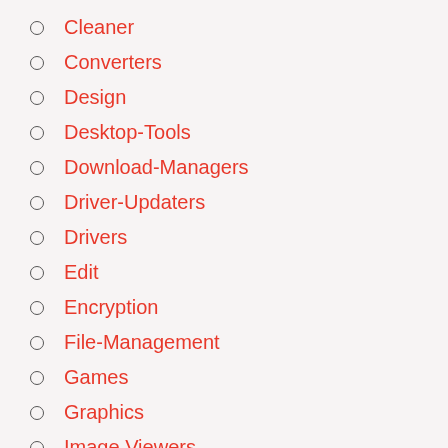Cleaner
Converters
Design
Desktop-Tools
Download-Managers
Driver-Updaters
Drivers
Edit
Encryption
File-Management
Games
Graphics
Image Viewers
Mac
Microsoft-Office